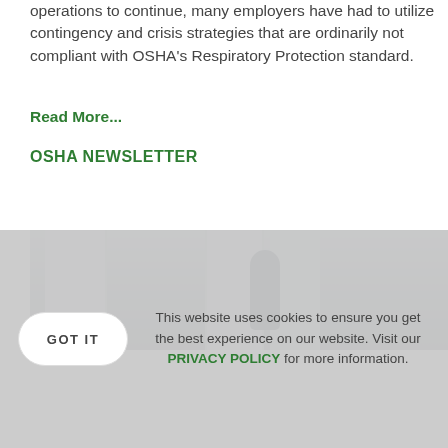operations to continue, many employers have had to utilize contingency and crisis strategies that are ordinarily not compliant with OSHA's Respiratory Protection standard.
Read More...
OSHA NEWSLETTER
[Figure (photo): Exterior photo of a government or institutional building with classical columns; a person in a hoodie is visible in the center.]
This website uses cookies to ensure you get the best experience on our website. Visit our PRIVACY POLICY for more information.